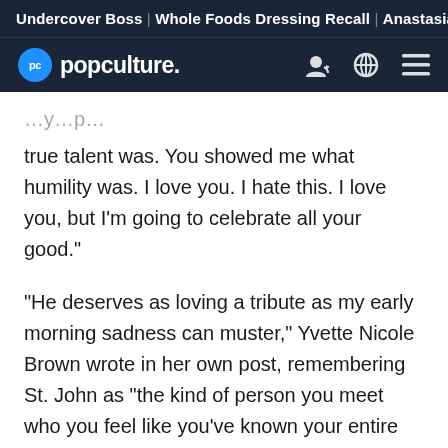Undercover Boss | Whole Foods Dressing Recall | Anastasia
popculture.
true talent was. You showed me what humility was. I love you. I hate this. I love you, but I'm going to celebrate all your good."
"He deserves as loving a tribute as my early morning sadness can muster," Yvette Nicole Brown wrote in her own post, remembering St. John as "the kind of person you meet who you feel like you've known your entire life."